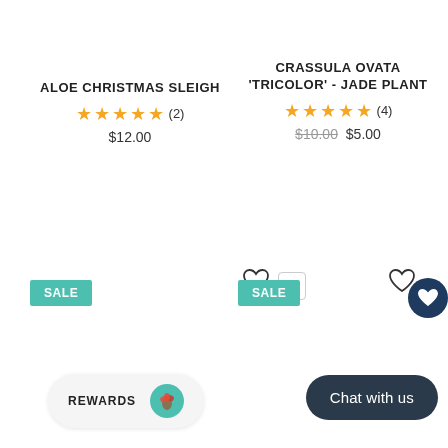ALOE CHRISTMAS SLEIGH
★★★★★ (2)
$12.00
CRASSULA OVATA 'TRICOLOR' - JADE PLANT
★★★★★ (4)
$10.00  $5.00
SALE
1
SALE
REWARDS
Chat with us